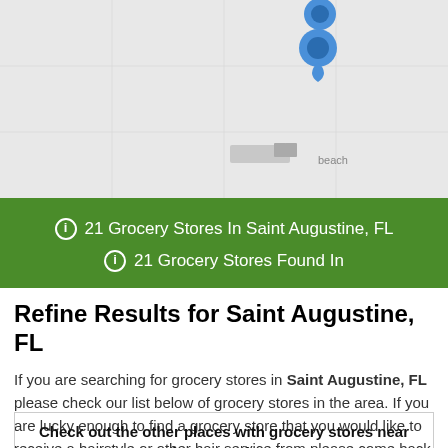[Figure (map): Map showing location pins for grocery stores in Saint Augustine, FL. Two blue teardrop pins visible near center-right of map on a light gray map background with 'Beach' label visible.]
ℹ 21 Grocery Stores In Saint Augustine, FL
ℹ 21 Grocery Stores Found In
Refine Results for Saint Augustine, FL
If you are searching for grocery stores in Saint Augustine, FL please check our list below of grocery stores in the area. If you are lucky enough to find a grocery store that you would like to receive a hairstyle or other hair service from please come back to review the grocery store so other people looking for a hair stylist will have your valuable review to make an informed decision.
Check out the other places with grocery stores near Saint Augustine, FL